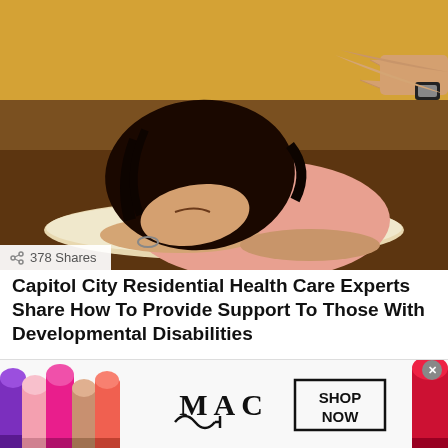[Figure (photo): Photo of a person (appears to be a young woman with dark hair) with head resting on an open book, while another person's hands reach toward them from the right side. Warm brown/golden background.]
378 Shares
Capitol City Residential Health Care Experts Share How To Provide Support To Those With Developmental Disabilities
by Admin
7 days ago
[Figure (other): MAC Cosmetics advertisement banner showing lipsticks on the left and right, MAC logo in the center, and a SHOP NOW box on the right side.]